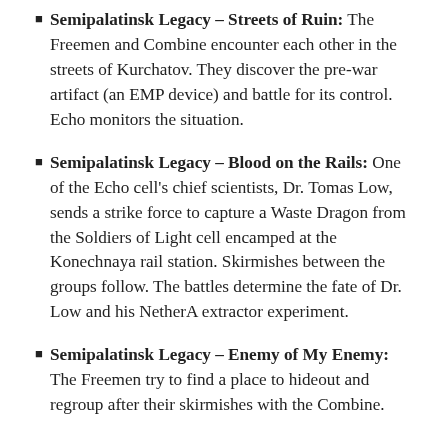Semipalatinsk Legacy – Streets of Ruin: The Freemen and Combine encounter each other in the streets of Kurchatov. They discover the pre-war artifact (an EMP device) and battle for its control. Echo monitors the situation.
Semipalatinsk Legacy – Blood on the Rails: One of the Echo cell's chief scientists, Dr. Tomas Low, sends a strike force to capture a Waste Dragon from the Soldiers of Light cell encamped at the Konechnaya rail station. Skirmishes between the groups follow. The battles determine the fate of Dr. Low and his NetherA extractor experiment.
Semipalatinsk Legacy – Enemy of My Enemy: The Freemen try to find a place to hideout and regroup after their skirmishes with the Combine.